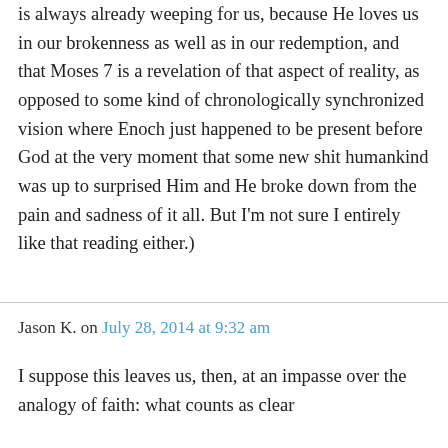is always already weeping for us, because He loves us in our brokenness as well as in our redemption, and that Moses 7 is a revelation of that aspect of reality, as opposed to some kind of chronologically synchronized vision where Enoch just happened to be present before God at the very moment that some new shit humankind was up to surprised Him and He broke down from the pain and sadness of it all. But I'm not sure I entirely like that reading either.)
Jason K. on July 28, 2014 at 9:32 am
I suppose this leaves us, then, at an impasse over the analogy of faith: what counts as clear